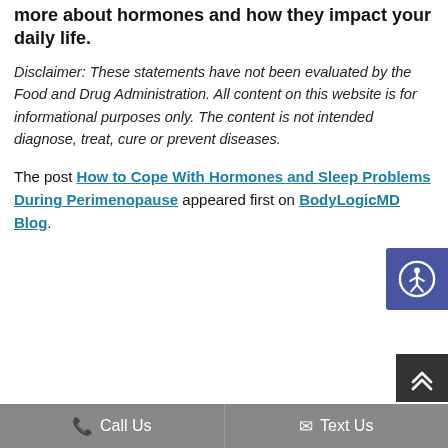more about hormones and how they impact your daily life.
Disclaimer: These statements have not been evaluated by the Food and Drug Administration. All content on this website is for informational purposes only. The content is not intended diagnose, treat, cure or prevent diseases.
The post How to Cope With Hormones and Sleep Problems During Perimenopause appeared first on BodyLogicMD Blog.
[Figure (other): Accessibility icon button (person in circle) on purple/indigo background, positioned at right edge]
[Figure (other): Scroll to top button with double chevron up arrows on dark grey background, positioned at bottom right]
Call Us   Text Us